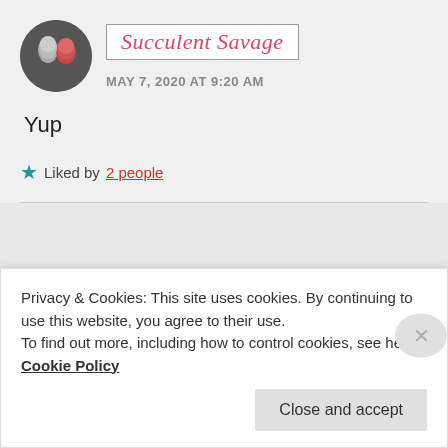Succulent Savage
MAY 7, 2020 AT 9:20 AM
Yup
★ Liked by 2 people
Advertisements
Privacy & Cookies: This site uses cookies. By continuing to use this website, you agree to their use.
To find out more, including how to control cookies, see here: Cookie Policy
Close and accept